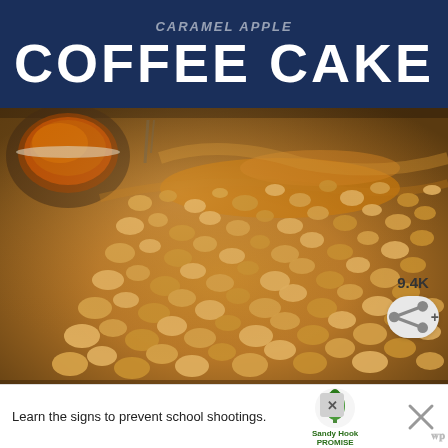COFFEE CAKE
[Figure (photo): Close-up overhead photo of a coffee cake with crumb streusel topping and caramel drizzle, with a small white bowl of caramel sauce visible in the upper left corner. The cake is on a dark pan.]
9.4K
[Figure (other): Advertisement banner: 'Learn the signs to prevent school shootings.' with Sandy Hook Promise logo and tree graphic. Close button (X) visible. WP logo on right side.]